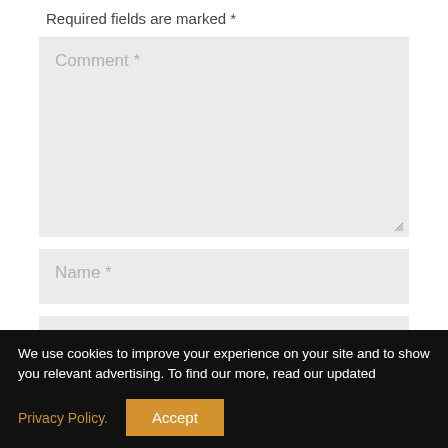Required fields are marked *
[Figure (screenshot): Comment textarea input field with placeholder text 'Comment *' and resize handle]
[Figure (screenshot): Name text input field with placeholder text 'Name *']
[Figure (screenshot): Email text input field with placeholder text 'Email *']
We use cookies to improve your experience on your site and to show you relevant advertising. To find our more, read our updated
Privacy Policy.
Accept